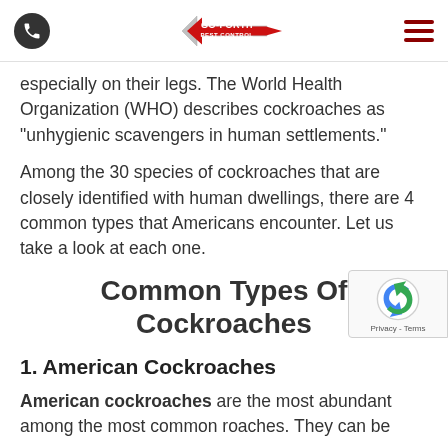Go-Forth Pest Control
especially on their legs. The World Health Organization (WHO) describes cockroaches as “unhygienic scavengers in human settlements.”
Among the 30 species of cockroaches that are closely identified with human dwellings, there are 4 common types that Americans encounter. Let us take a look at each one.
Common Types Of Cockroaches
1. American Cockroaches
American cockroaches are the most abundant among the most common roaches. They can be